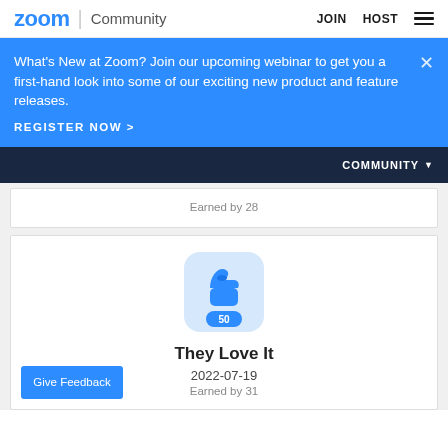zoom Community | JOIN  HOST
What's New at Zoom? Join our upcoming webinar to get you a first-hand look into some of our exciting new product and feature releases.
REGISTER NOW >
COMMUNITY
Earned by 28
[Figure (illustration): Badge icon: thumbs up with number 50 on a blue rounded square background]
They Love It
2022-07-19
Earned by 31
Give Feedback